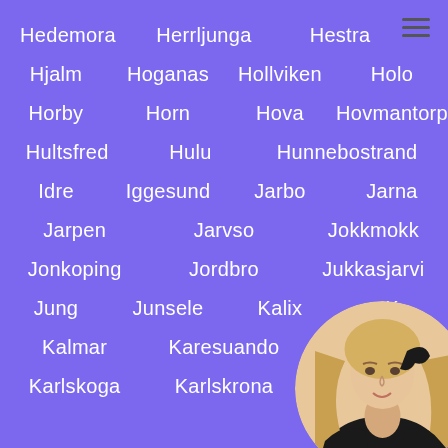Hedemora   Herrljunga   Hestra
Hjalm   Hoganas   Hollviken   Holo
Horby   Horn   Hova   Hovmantorp
Hultsfred   Hulu   Hunnebostrand
Idre   Iggesund   Jarbo   Jarna
Jarpen   Jarvso   Jokkmokk
Jonkoping   Jordbro   Jukkasjarvi
Jung   Junsele   Kalix   Ka...
Kalmar   Karesuando   Ka...
Karlskoga   Karlskrona   Ka...
[Figure (photo): Circular avatar photo of a woman with blonde wavy hair, wearing black gloves, positioned in the bottom-right corner]